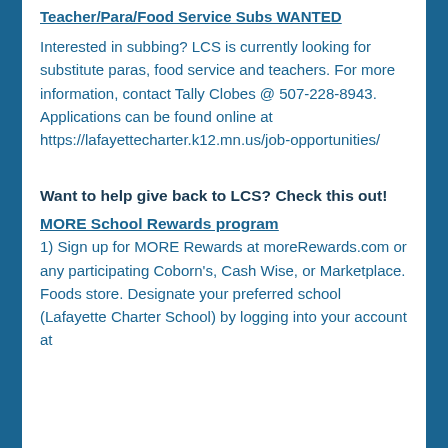Teacher/Para/Food Service Subs WANTED
Interested in subbing? LCS is currently looking for substitute paras, food service and teachers. For more information, contact Tally Clobes @ 507-228-8943. Applications can be found online at https://lafayettecharter.k12.mn.us/job-opportunities/
Want to help give back to LCS? Check this out!
MORE School Rewards program
1) Sign up for MORE Rewards at moreRewards.com or any participating Coborn's, Cash Wise, or Marketplace. Foods store. Designate your preferred school (Lafayette Charter School) by logging into your account at